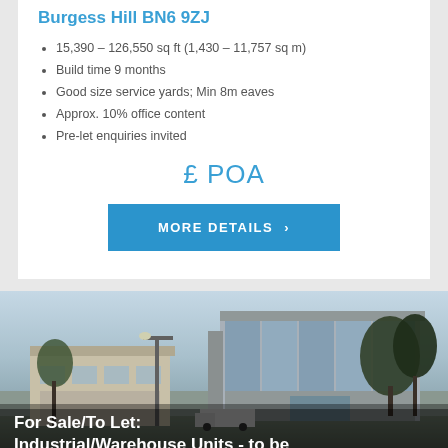Burgess Hill BN6 9ZJ
15,390 – 126,550 sq ft (1,430 – 11,757 sq m)
Build time 9 months
Good size service yards; Min 8m eaves
Approx. 10% office content
Pre-let enquiries invited
£ POA
MORE DETAILS ›
[Figure (photo): Architectural rendering of an industrial/warehouse building complex with glazed facade elements, service yard, trees in background and foreground.]
For Sale/To Let: Industrial/Warehouse Units - to be